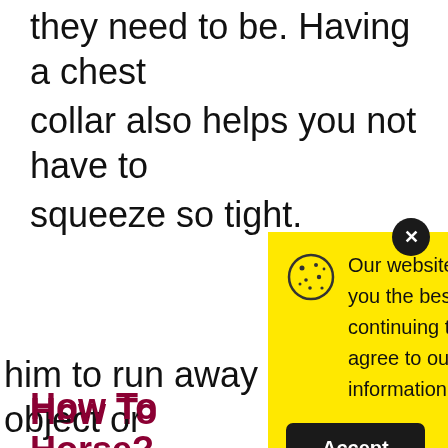they need to be. Having a chest collar also helps you not have to squeeze so tight.
How To … Horse?
Praise yo…
the obje…
him calm…
him to run away from the object or
Our website uses cookies to provide you the best experience. However, by continuing to use our website, you agree to our use of cookies. For more information, read our Cookie Policy.